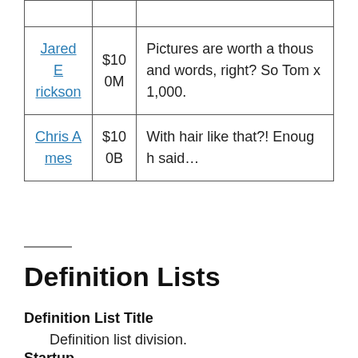|  |  |  |
| --- | --- | --- |
|  |  |  |
| Jared Erickson | $100M | Pictures are worth a thous and words, right? So Tom x 1,000. |
| Chris Ames | $100B | With hair like that?! Enough said… |
Definition Lists
Definition List Title
Definition list division.
Startup